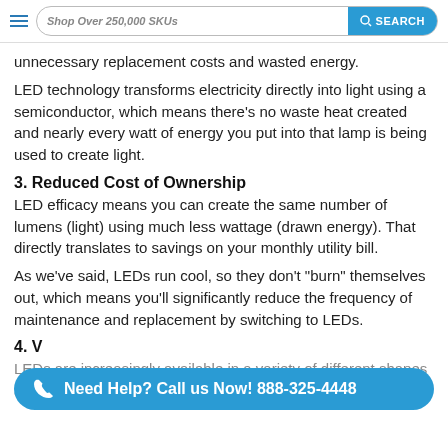Shop Over 250,000 SKUs | SEARCH
unnecessary replacement costs and wasted energy.
LED technology transforms electricity directly into light using a semiconductor, which means there's no waste heat created and nearly every watt of energy you put into that lamp is being used to create light.
3. Reduced Cost of Ownership
LED efficacy means you can create the same number of lumens (light) using much less wattage (drawn energy). That directly translates to savings on your monthly utility bill.
As we've said, LEDs run cool, so they don't "burn" themselves out, which means you'll significantly reduce the frequency of maintenance and replacement by switching to LEDs.
4. V
LEDs are increasingly available in a variety of different shapes and forms to meet both practical and decorative, outdoor
[Figure (infographic): Teal call-to-action button: phone icon + 'Need Help? Call us Now! 888-325-4448']